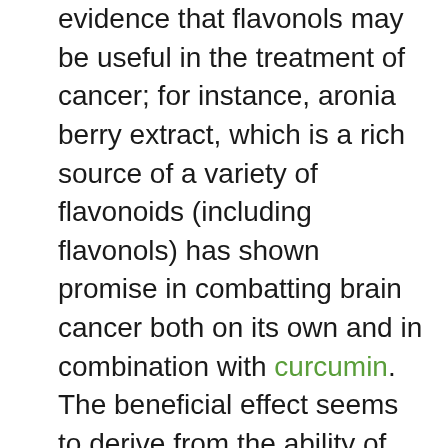evidence that flavonols may be useful in the treatment of cancer; for instance, aronia berry extract, which is a rich source of a variety of flavonoids (including flavonols) has shown promise in combatting brain cancer both on its own and in combination with curcumin. The beneficial effect seems to derive from the ability of aronia berry extract to reduce the growth of cancerous cells as well as destroy pre-existing cancerous cells.
In addition, flavonols seem to have a wide variety of other health benefits – there is evidence that: they are beneficial in promoting bone strength; have anti-inflammatory activity; and even show neuroprotective activity. Dietary sources of